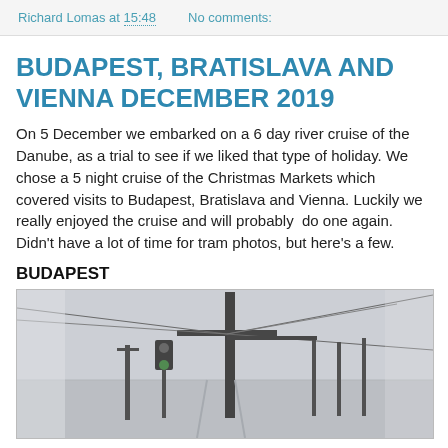Richard Lomas at 15:48   No comments:
BUDAPEST, BRATISLAVA AND VIENNA DECEMBER 2019
On 5 December we embarked on a 6 day river cruise of the Danube, as a trial to see if we liked that type of holiday. We chose a 5 night cruise of the Christmas Markets which covered visits to Budapest, Bratislava and Vienna. Luckily we really enjoyed the cruise and will probably  do one again. Didn't have a lot of time for tram photos, but here's a few.
BUDAPEST
[Figure (photo): Street scene in Budapest showing tram overhead wire infrastructure, poles, traffic lights and a misty/overcast sky background.]